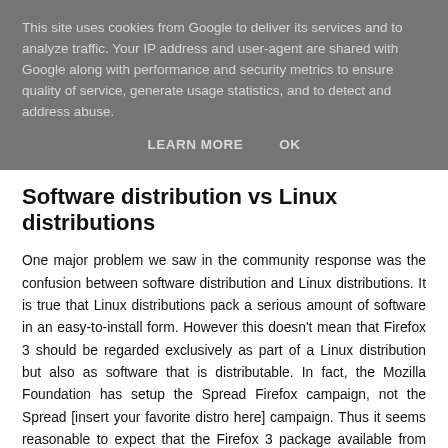This site uses cookies from Google to deliver its services and to analyze traffic. Your IP address and user-agent are shared with Google along with performance and security metrics to ensure quality of service, generate usage statistics, and to detect and address abuse.
LEARN MORE   OK
Software distribution vs Linux distributions
One major problem we saw in the community response was the confusion between software distribution and Linux distributions. It is true that Linux distributions pack a serious amount of software in an easy-to-install form. However this doesn't mean that Firefox 3 should be regarded exclusively as part of a Linux distribution but also as software that is distributable. In fact, the Mozilla Foundation has setup the Spread Firefox campaign, not the Spread [insert your favorite distro here] campaign. Thus it seems reasonable to expect that the Firefox 3 package available from mozilla.com will work across Linux installations which are not pre-historic.